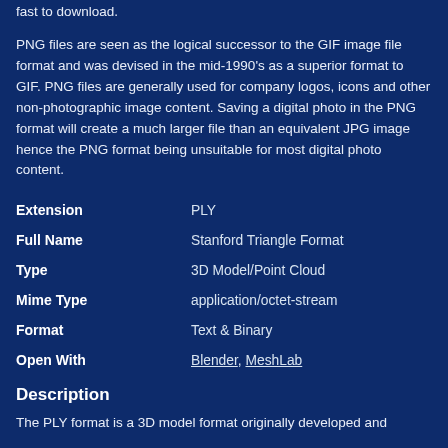fast to download.
PNG files are seen as the logical successor to the GIF image file format and was devised in the mid-1990's as a superior format to GIF. PNG files are generally used for company logos, icons and other non-photographic image content. Saving a digital photo in the PNG format will create a much larger file than an equivalent JPG image hence the PNG format being unsuitable for most digital photo content.
| Property | Value |
| --- | --- |
| Extension | PLY |
| Full Name | Stanford Triangle Format |
| Type | 3D Model/Point Cloud |
| Mime Type | application/octet-stream |
| Format | Text & Binary |
| Open With | Blender, MeshLab |
Description
The PLY format is a 3D model format originally developed and